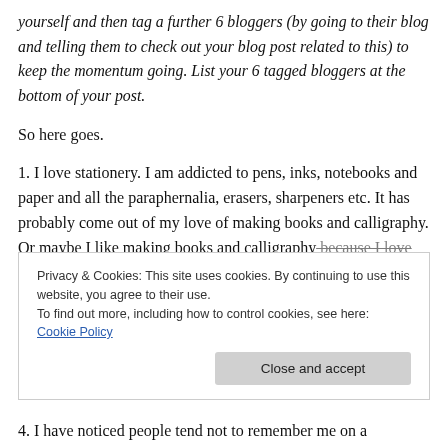yourself and then tag a further 6 bloggers (by going to their blog and telling them to check out your blog post related to this) to keep the momentum going. List your 6 tagged bloggers at the bottom of your post.
So here goes.
1. I love stationery. I am addicted to pens, inks, notebooks and paper and all the paraphernalia, erasers, sharpeners etc. It has probably come out of my love of making books and calligraphy. Or maybe I like making books and calligraphy because I love stationery. Who can say?
Privacy & Cookies: This site uses cookies. By continuing to use this website, you agree to their use. To find out more, including how to control cookies, see here: Cookie Policy
Close and accept
4. I have noticed people tend not to remember me on a